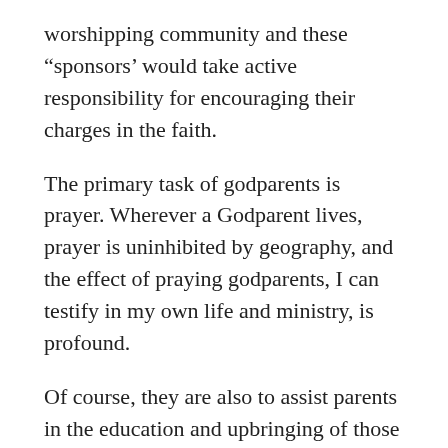worshipping community and these “sponsors’ would take active responsibility for encouraging their charges in the faith.
The primary task of godparents is prayer. Wherever a Godparent lives, prayer is uninhibited by geography, and the effect of praying godparents, I can testify in my own life and ministry, is profound.
Of course, they are also to assist parents in the education and upbringing of those children in the faith. leading to confirmation. Certainly, they are to develop a relationship with the children so that, when they reach that peculiar age when parents become quite intolerable and very limited in their understanding, there will be somebody within the faith (whom the parents also trust) with whom they